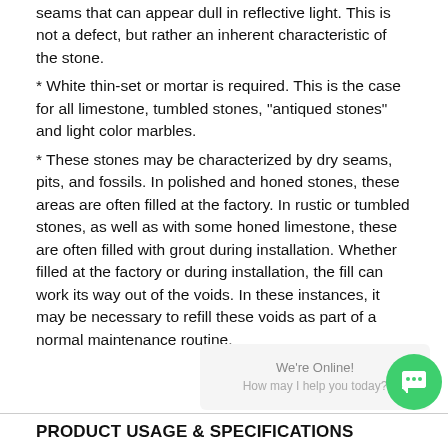seams that can appear dull in reflective light. This is not a defect, but rather an inherent characteristic of the stone.
* White thin-set or mortar is required. This is the case for all limestone, tumbled stones, "antiqued stones" and light color marbles.
* These stones may be characterized by dry seams, pits, and fossils. In polished and honed stones, these areas are often filled at the factory. In rustic or tumbled stones, as well as with some honed limestone, these are often filled with grout during installation. Whether filled at the factory or during installation, the fill can work its way out of the voids. In these instances, it may be necessary to refill these voids as part of a normal maintenance routine.
PRODUCT USAGE & SPECIFICATIONS